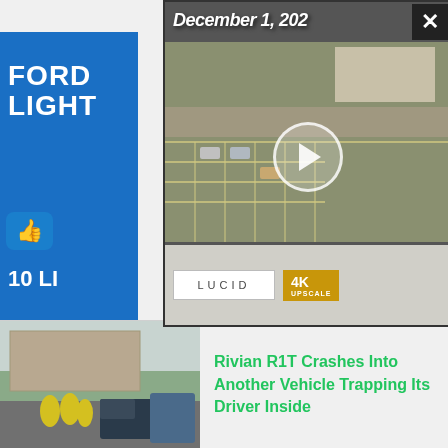[Figure (screenshot): Top partial news row from a news website]
[Figure (screenshot): Ford Lightning thumbnail with thumbs up icon and '10 LI' text, alongside partial text showing '0 Likes' and 'Months']
[Figure (screenshot): Video overlay popup showing aerial view of parking lot with Lucid logo and 4K badge, dated December 1, 202, with play button and close X]
[Figure (photo): Rivian R1T crash scene with firefighters in yellow gear and damaged vehicle on road]
Rivian R1T Crashes Into Another Vehicle Trapping Its Driver Inside
[Figure (photo): Red Tesla Model Y driving on road, motion blur background]
Tesla Model Y Standard Range RWD Launches In Europe
[Figure (photo): Partial view of a car interior or gold/brown colored vehicle at bottom of page]